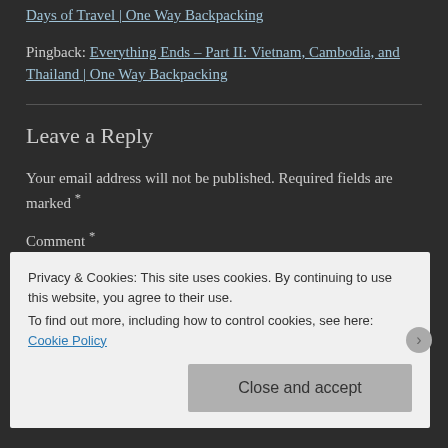Days of Travel | One Way Backpacking
Pingback: Everything Ends – Part II: Vietnam, Cambodia, and Thailand | One Way Backpacking
Leave a Reply
Your email address will not be published. Required fields are marked *
Comment *
Privacy & Cookies: This site uses cookies. By continuing to use this website, you agree to their use.
To find out more, including how to control cookies, see here: Cookie Policy
Close and accept